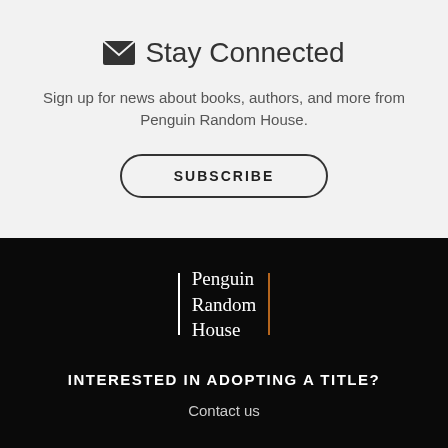Stay Connected
Sign up for news about books, authors, and more from Penguin Random House.
SUBSCRIBE
[Figure (logo): Penguin Random House logo with white vertical bar on left and brown vertical bar on right, white serif text reading 'Penguin Random House']
INTERESTED IN ADOPTING A TITLE?
Contact us